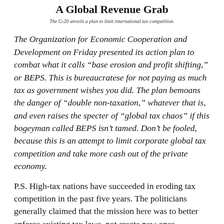A Global Revenue Grab
The G-20 unveils a plan to limit international tax competition.
The Organization for Economic Cooperation and Development on Friday presented its action plan to combat what it calls “base erosion and profit shifting,” or BEPS. This is bureaucratese for not paying as much tax as government wishes you did. The plan bemoans the danger of “double non-taxation,” whatever that is, and even raises the specter of “global tax chaos” if this bogeyman called BEPS isn’t tamed. Don’t be fooled, because this is an attempt to limit corporate global tax competition and take more cash out of the private economy.
P.S. High-tax nations have succeeded in eroding tax competition in the past five years. The politicians generally claimed that the mission here was to better enforce existing tax laws, not create new ones.